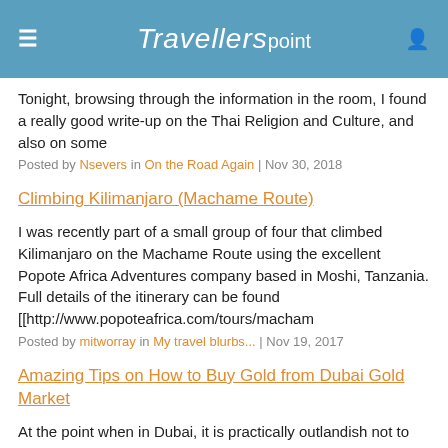Travellerspoint
Tonight, browsing through the information in the room, I found a really good write-up on the Thai Religion and Culture, and also on some
Posted by Nsevers in On the Road Again | Nov 30, 2018
Climbing Kilimanjaro (Machame Route)
I was recently part of a small group of four that climbed Kilimanjaro on the Machame Route using the excellent Popote Africa Adventures company based in Moshi, Tanzania. Full details of the itinerary can be found [[http://www.popoteafrica.com/tours/macham
Posted by mitworray in My travel blurbs... | Nov 19, 2017
Amazing Tips on How to Buy Gold from Dubai Gold Market
At the point when in Dubai, it is practically outlandish not to visit the gold markets on your [[http://www.caravansmiddleeast.com/main/inventory.php|Du Caravans]]. This is one of the famous vacationer goals of